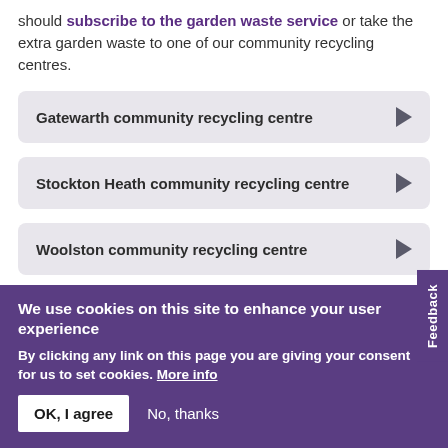should subscribe to the garden waste service or take the extra garden waste to one of our community recycling centres.
Gatewarth community recycling centre
Stockton Heath community recycling centre
Woolston community recycling centre
Home composting is also a good way to dispose of garden waste.
We use cookies on this site to enhance your user experience
By clicking any link on this page you are giving your consent for us to set cookies. More info
OK, I agree   No, thanks